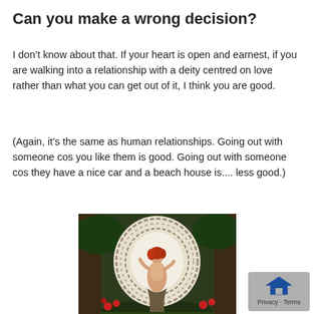Can you make a wrong decision?
I don’t know about that. If your heart is open and earnest, if you are walking into a relationship with a deity centred on love rather than what you can get out of it, I think you are good.
(Again, it’s the same as human relationships. Going out with someone cos you like them is good. Going out with someone cos they have a nice car and a beach house is.... less good.)
[Figure (illustration): A painting of a fairy or spirit figure with red hair and flowing garments, set within a circular swirling border of feathers or wind, surrounded by trees and flowers in a forest setting.]
[Figure (logo): A small gray badge with a house/home icon and the text 'Privacy · Terms' at the bottom right corner.]